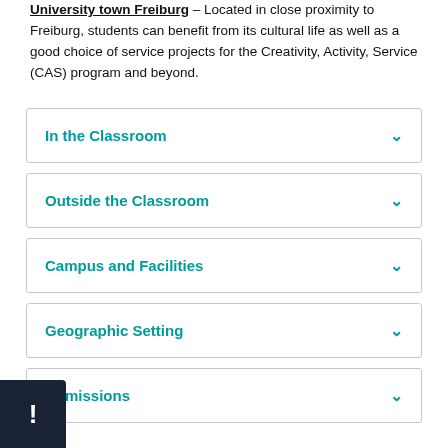University town Freiburg – Located in close proximity to Freiburg, students can benefit from its cultural life as well as a good choice of service projects for the Creativity, Activity, Service (CAS) program and beyond.
In the Classroom
Outside the Classroom
Campus and Facilities
Geographic Setting
Admissions